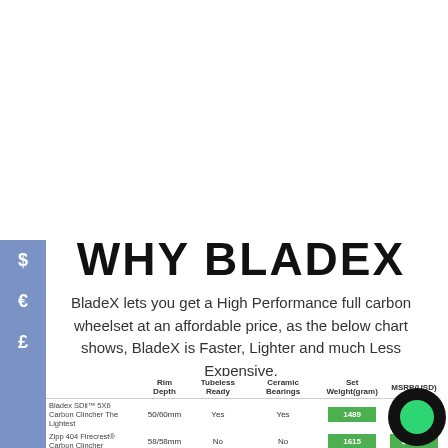WHY BLADEX
BladeX lets you get a High Performance full carbon wheelset at an affordable price, as the below chart shows, BladeX is Faster, Lighter and much Less Expensive.
|  | Rim Depth | Tubeless Ready | Ceramic Bearings | Set Weight(gram) | MSRP(USD) |
| --- | --- | --- | --- | --- | --- |
| Bladex SDii™ 5X6 Carbon Clincher The Lightest | 50/60mm | Yes | Yes | 1489 | $1,090 |
| Zipp 404 Firecrest® Carbon Clincher | 58/58mm | No | No | 1615 | $2,200 |
| ENVE SES 5.6 | 54/63mm | Yes | No | 1568 | $2,700 |